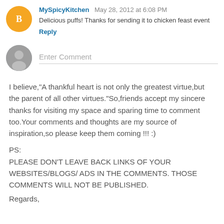MySpicyKitchen May 28, 2012 at 6:08 PM
Delicious puffs! Thanks for sending it to chicken feast event
Reply
Enter Comment
I believe,"A thankful heart is not only the greatest virtue,but the parent of all other virtues."So,friends accept my sincere thanks for visiting my space and sparing time to comment too.Your comments and thoughts are my source of inspiration,so please keep them coming !!! :)
PS:
PLEASE DON'T LEAVE BACK LINKS OF YOUR WEBSITES/BLOGS/ ADS IN THE COMMENTS. THOSE COMMENTS WILL NOT BE PUBLISHED.
Regards,